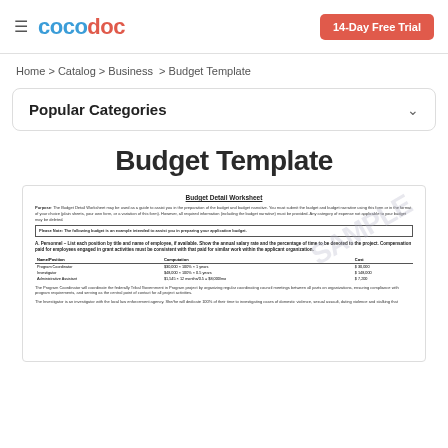cocodoc — 14-Day Free Trial
Home > Catalog > Business > Budget Template
Popular Categories
Budget Template
[Figure (screenshot): Preview of a Budget Detail Worksheet document showing purpose text, a note about example budget, personnel section with a table listing Name/Position, Computation, and Cost columns with entries for Program Coordinator, Investigator, and Administrative Assistant, followed by body text paragraphs.]